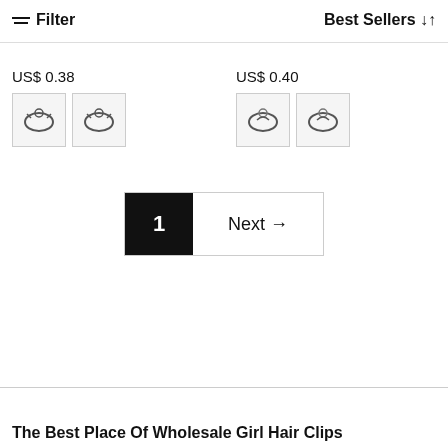Filter | Best Sellers
US$ 0.38
[Figure (photo): Two thumbnail images of bracelets on left product]
US$ 0.40
[Figure (photo): Two thumbnail images of bracelets on right product]
1  Next →
The Best Place Of Wholesale Girl Hair Clips